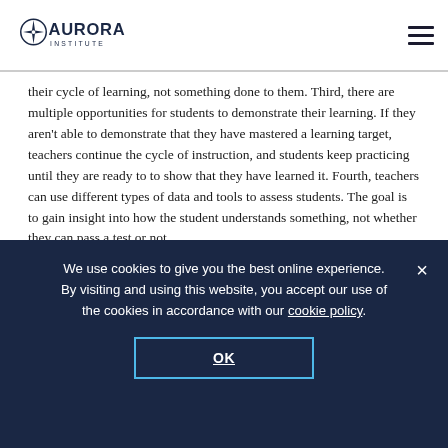Aurora Institute
their cycle of learning, not something done to them. Third, there are multiple opportunities for students to demonstrate their learning. If they aren't able to demonstrate that they have mastered a learning target, teachers continue the cycle of instruction, and students keep practicing until they are ready to to show that they have learned it. Fourth, teachers can use different types of data and tools to assess students. The goal is to gain insight into how the student understands something, not whether they can pass a test or not.
Although much energy is placed on re-aligning and expanding the system of assessments in competency-based schools,
We use cookies to give you the best online experience. By visiting and using this website, you accept our use of the cookies in accordance with our cookie policy.